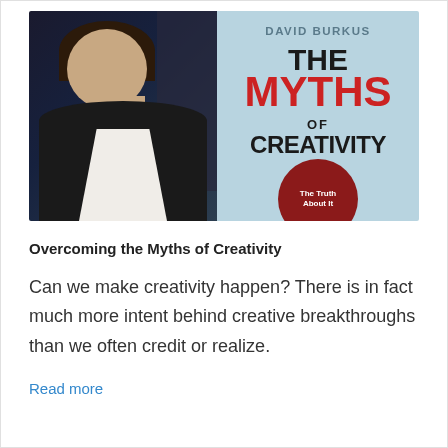[Figure (photo): Composite image: left half shows a professional headshot of a man in a dark suit with white shirt against a dark background; right half shows the book cover 'The Myths of Creativity' by David Burkus with a light blue background, with 'MYTHS' in red and 'CREATIVITY' in black bold text, plus a dark red circular badge reading 'The Truth']
Overcoming the Myths of Creativity
Can we make creativity happen? There is in fact much more intent behind creative breakthroughs than we often credit or realize.
Read more